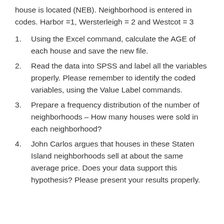house is located (NEB). Neighborhood is entered in codes. Harbor =1, Wersterleigh = 2 and Westcot = 3
Using the Excel command, calculate the AGE of each house and save the new file.
Read the data into SPSS and label all the variables properly. Please remember to identify the coded variables, using the Value Label commands.
Prepare a frequency distribution of the number of neighborhoods – How many houses were sold in each neighborhood?
John Carlos argues that houses in these Staten Island neighborhoods sell at about the same average price. Does your data support this hypothesis? Please present your results properly.